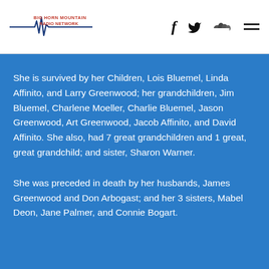Big Horn Mountain Radio Network
She is survived by her Children, Lois Bluemel, Linda Affinito, and Larry Greenwood; her grandchildren, Jim Bluemel, Charlene Moeller, Charlie Bluemel, Jason Greenwood, Art Greenwood, Jacob Affinito, and David Affinito. She also, had 7 great grandchildren and 1 great, great grandchild; and sister, Sharon Warner.
She was preceded in death by her husbands, James Greenwood and Don Arbogast; and her 3 sisters, Mabel Deon, Jane Palmer, and Connie Bogart.